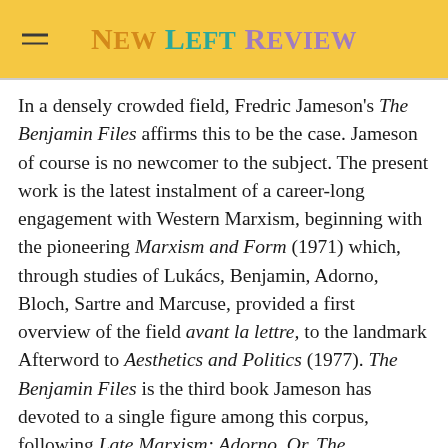New Left Review
In a densely crowded field, Fredric Jameson's The Benjamin Files affirms this to be the case. Jameson of course is no newcomer to the subject. The present work is the latest instalment of a career-long engagement with Western Marxism, beginning with the pioneering Marxism and Form (1971) which, through studies of Lukács, Benjamin, Adorno, Bloch, Sartre and Marcuse, provided a first overview of the field avant la lettre, to the landmark Afterword to Aesthetics and Politics (1977). The Benjamin Files is the third book Jameson has devoted to a single figure among this corpus, following Late Marxism: Adorno, Or, The Persistence of the Dialectic (1990) and Brecht and Method (1998).
    As a distinct theoretical tradition, Western Marxism